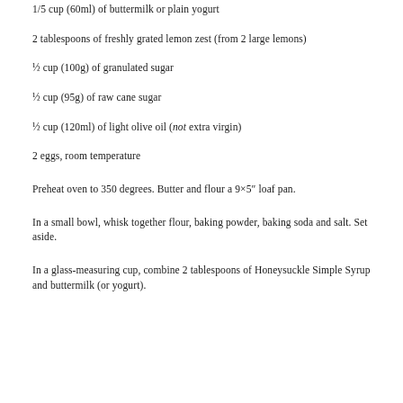1/5 cup (60ml) of buttermilk or plain yogurt
2 tablespoons of freshly grated lemon zest (from 2 large lemons)
½ cup (100g) of granulated sugar
½ cup (95g) of raw cane sugar
½ cup (120ml) of light olive oil (not extra virgin)
2 eggs, room temperature
Preheat oven to 350 degrees. Butter and flour a 9×5″ loaf pan.
In a small bowl, whisk together flour, baking powder, baking soda and salt. Set aside.
In a glass-measuring cup, combine 2 tablespoons of Honeysuckle Simple Syrup and buttermilk (or yogurt).